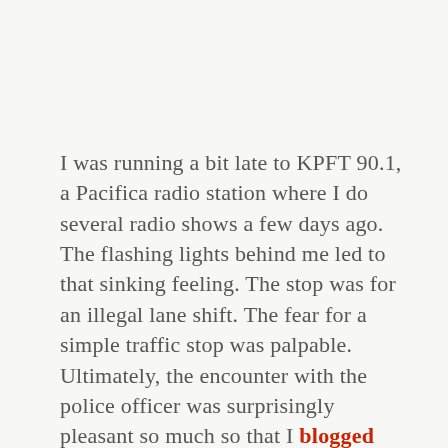I was running a bit late to KPFT 90.1, a Pacifica radio station where I do several radio shows a few days ago. The flashing lights behind me led to that sinking feeling. The stop was for an illegal lane shift. The fear for a simple traffic stop was palpable. Ultimately, the encounter with the police officer was surprisingly pleasant so much so that I blogged about it when I got home at midnight. The day after I got an email from the Houston Police Department informing me that the officer received a commendation that was placed in his file because of my blog post about the encounter. Through the eyes of many there was nothing